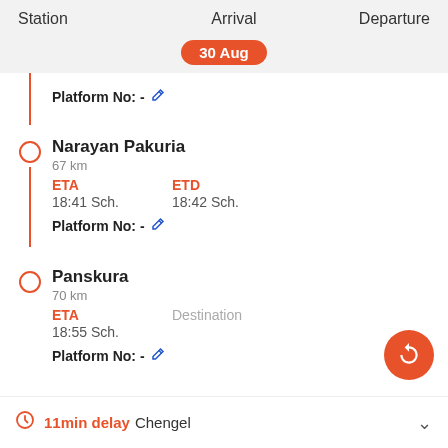Station   Arrival   Departure
30 Aug
Platform No: -
Narayan Pakuria
67 km
ETA
18:41 Sch.
ETD
18:42 Sch.
Platform No: -
Panskura
70 km
ETA
18:55 Sch.
Destination
Platform No: -
11min delay Chengel